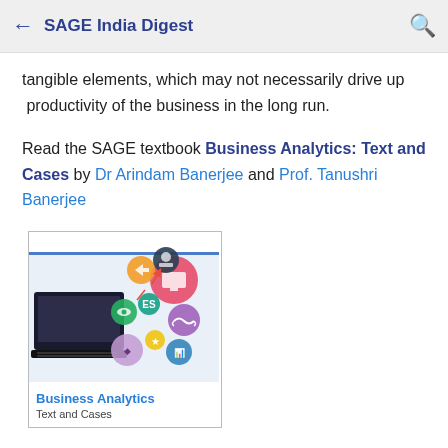← SAGE India Digest 🔍
tangible elements, which may not necessarily drive up  productivity of the business in the long run.
Read the SAGE textbook Business Analytics: Text and Cases by Dr Arindam Banerjee and Prof. Tanushri Banerjee
[Figure (illustration): Book cover of Business Analytics: Text and Cases showing a laptop and colorful circular icons representing business analytics concepts]
Business Analytics
Text and Cases